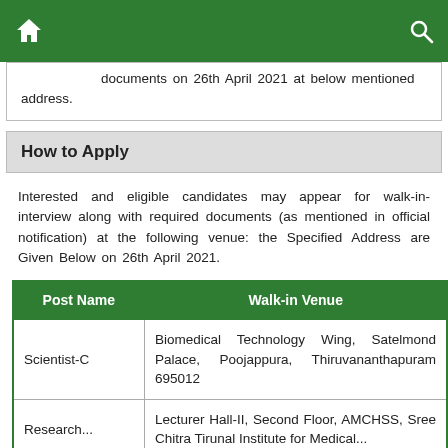[Home icon] [Search icon]
documents on 26th April 2021 at below mentioned address.
How to Apply
Interested and eligible candidates may appear for walk-in-interview along with required documents (as mentioned in official notification) at the following venue: the Specified Address are Given Below on 26th April 2021.
| Post Name | Walk-in Venue |
| --- | --- |
| Scientist-C | Biomedical Technology Wing, Satelmond Palace, Poojappura, Thiruvananthapuram 695012 |
| Research... | Lecturer Hall-II, Second Floor, AMCHSS, Sree Chitra Tirunal Institute for Medical... |